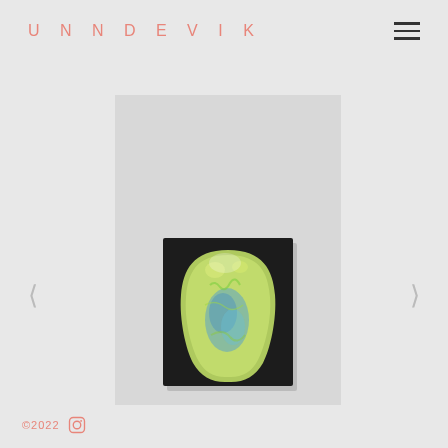UNNDEVIK
[Figure (photo): An abstract painting mounted on a dark/black rectangular canvas, showing a green organic blob shape with blue brushstrokes in the center, photographed against a light gray wall.]
©2022